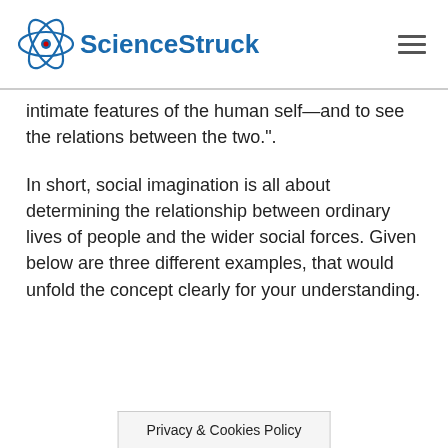ScienceStruck
intimate features of the human self—and to see the relations between the two.".
In short, social imagination is all about determining the relationship between ordinary lives of people and the wider social forces. Given below are three different examples, that would unfold the concept clearly for your understanding.
Privacy & Cookies Policy